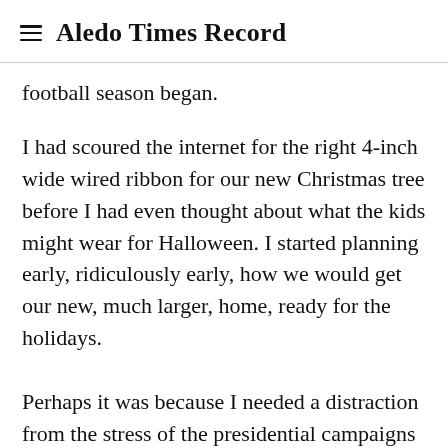Aledo Times Record
football season began.
I had scoured the internet for the right 4-inch wide wired ribbon for our new Christmas tree before I had even thought about what the kids might wear for Halloween. I started planning early, ridiculously early, how we would get our new, much larger, home, ready for the holidays.
Perhaps it was because I needed a distraction from the stress of the presidential campaigns and election. Maybe it was just because, with so much misery due to COVID and positive cases going up rapidly across the U.S. and in Europe, I wanted something happy to look forward to. And more